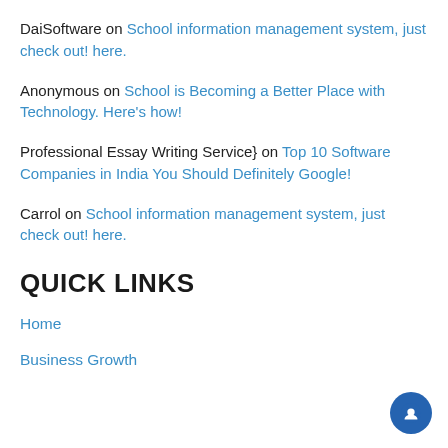DaiSoftware on School information management system, just check out! here.
Anonymous on School is Becoming a Better Place with Technology. Here's how!
Professional Essay Writing Service} on Top 10 Software Companies in India You Should Definitely Google!
Carrol on School information management system, just check out! here.
QUICK LINKS
Home
Business Growth